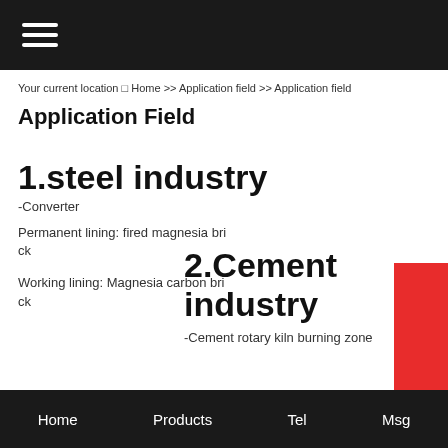Your current location □ Home >> Application field >> Application field
Application Field
1.steel industry
-Converter
Permanent lining: fired magnesia brick
Working lining: Magnesia carbon brick
2.Cement industry
-Cement rotary kiln burning zone
Home   Products   Tel   Msg